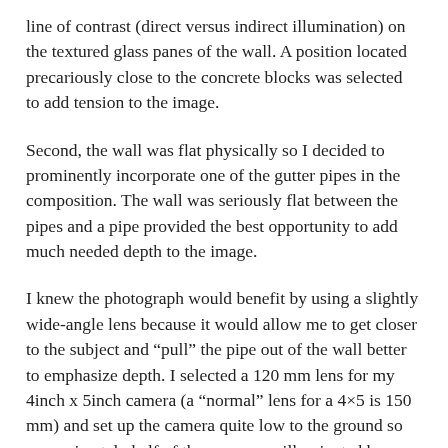line of contrast (direct versus indirect illumination) on the textured glass panes of the wall. A position located precariously close to the concrete blocks was selected to add tension to the image.
Second, the wall was flat physically so I decided to prominently incorporate one of the gutter pipes in the composition. The wall was seriously flat between the pipes and a pipe provided the best opportunity to add much needed depth to the image.
I knew the photograph would benefit by using a slightly wide-angle lens because it would allow me to get closer to the subject and “pull” the pipe out of the wall better to emphasize depth. I selected a 120 mm lens for my 4inch x 5inch camera (a “normal” lens for a 4×5 is 150 mm) and set up the camera quite low to the ground so approximately half of the scene was illuminated by direct sunlight and half was illuminated only indirectly by blue